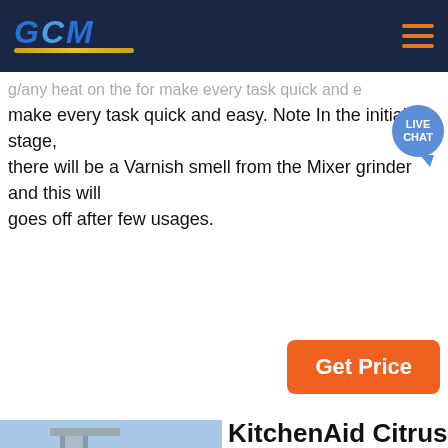GCM [logo with hamburger menu]
make every task quick and easy. Note In the initial stage, there will be a Varnish smell from the Mixer grinder and this will goes off after few usages.
[Figure (screenshot): Live Chat bubble overlay on header]
[Figure (other): Orange Get Price button]
[Figure (photo): Industrial plant / GCM Machinery facility photo with GCM logo overlay]
KitchenAid Citrus Juicer Attachment- JETarget
Juice citrus fruits quickly and easily with the power of your stand mixer. Simply attach KitchenAid Citrus Juicer to the stand mixer hub and get juicing directly into a bowl, pitcher or cup. All plastic components are